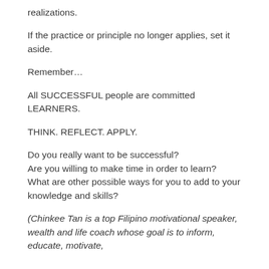realizations.
If the practice or principle no longer applies, set it aside.
Remember…
All SUCCESSFUL people are committed LEARNERS.
THINK. REFLECT. APPLY.
Do you really want to be successful?
Are you willing to make time in order to learn?
What are other possible ways for you to add to your knowledge and skills?
(Chinkee Tan is a top Filipino motivational speaker, wealth and life coach whose goal is to inform, educate, motivate,